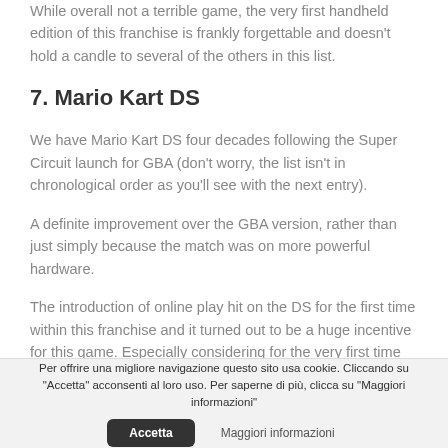While overall not a terrible game, the very first handheld edition of this franchise is frankly forgettable and doesn't hold a candle to several of the others in this list.
7. Mario Kart DS
We have Mario Kart DS four decades following the Super Circuit launch for GBA (don't worry, the list isn't in chronological order as you'll see with the next entry).
A definite improvement over the GBA version, rather than just simply because the match was on more powerful hardware.
The introduction of online play hit on the DS for the first time within this franchise and it turned out to be a huge incentive for this game. Especially considering for the very first time you did not need to be in the area of your buddies to have a
Per offrire una migliore navigazione questo sito usa cookie. Cliccando su "Accetta" acconsenti al loro uso. Per saperne di più, clicca su "Maggiori informazioni"